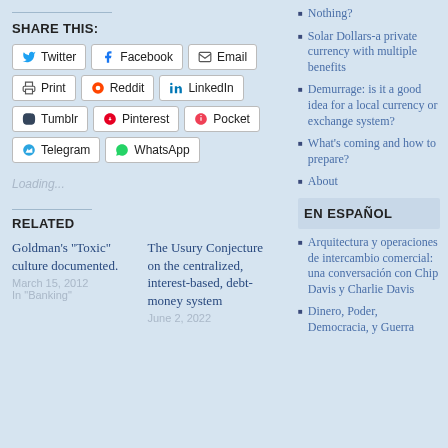SHARE THIS:
Twitter
Facebook
Email
Print
Reddit
LinkedIn
Tumblr
Pinterest
Pocket
Telegram
WhatsApp
Loading...
RELATED
Goldman’s “Toxic” culture documented.
March 15, 2012
In "Banking"
The Usury Conjecture on the centralized, interest-based, debt-money system
June 2, 2022
Nothing?
Solar Dollars-a private currency with multiple benefits
Demurrage: is it a good idea for a local currency or exchange system?
What's coming and how to prepare?
About
EN ESPAÑOL
Arquitectura y operaciones de intercambio comercial: una conversación con Chip Davis y Charlie Davis
Dinero, Poder, Democracia, y Guerra